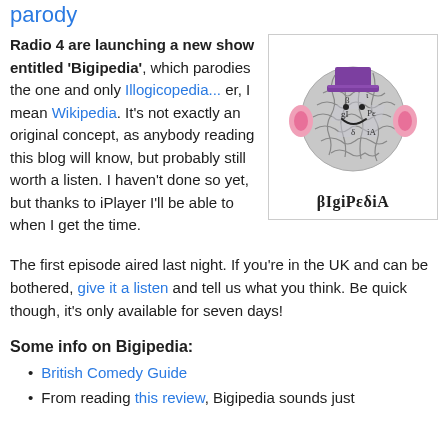parody
Radio 4 are launching a new show entitled 'Bigipedia', which parodies the one and only Illogicopedia... er, I mean Wikipedia. It's not exactly an original concept, as anybody reading this blog will know, but probably still worth a listen. I haven't done so yet, but thanks to iPlayer I'll be able to when I get the time.
[Figure (illustration): Bigipedia logo: a globe made of puzzle pieces with a smiley face wearing a purple top hat, pink ears on the sides, with the text 'βIgiPεδiA' below.]
The first episode aired last night. If you're in the UK and can be bothered, give it a listen and tell us what you think. Be quick though, it's only available for seven days!
Some info on Bigipedia:
British Comedy Guide
From reading this review, Bigipedia sounds just